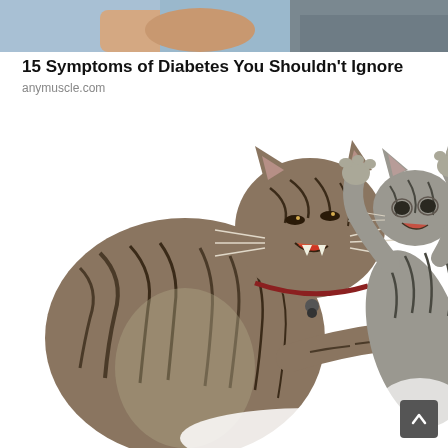[Figure (photo): Partial view of a person wearing a light blue shirt and grey vest/sweater, cropped at the top of the page]
15 Symptoms of Diabetes You Shouldn't Ignore
anymuscle.com
[Figure (photo): Two tabby cats facing each other in a fighting/sparring pose against a white background. The larger cat on the left has a collar with a tag and is reaching out with its paw toward the smaller cat on the right, which is rearing up on its hind legs with paws raised.]